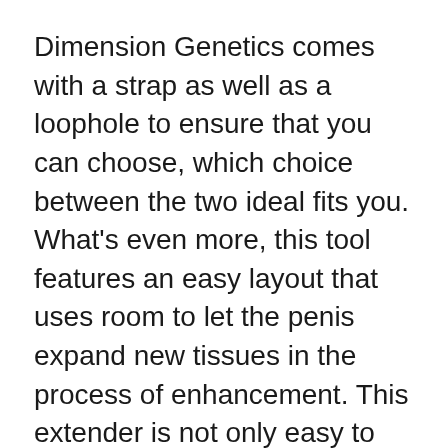Dimension Genetics comes with a strap as well as a loophole to ensure that you can choose, which choice between the two ideal fits you. What's even more, this tool features an easy layout that uses room to let the penis expand new tissues in the process of enhancement. This extender is not only easy to use however likewise comfortable to use.
Ultimately, it's safe and also accepted by the FDA. Despite the fact that you may feel a little pain initially, you'll really feel no significant pain after a couple of days as you continue to utilize this medical tool.
Having a little penis can be such a big embarrassment for many guys. Luckily, there